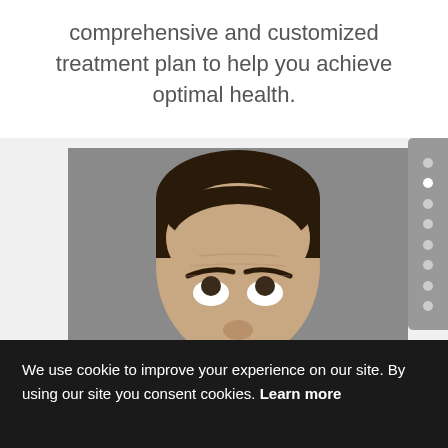comprehensive and customized treatment plan to help you achieve optimal health.
[Figure (photo): Photo of a middle-aged man with dark hair looking upward, shown from forehead to nose against a gray background, with a navigation dot panel on the right side]
We use cookie to improve your experience on our site. By using our site you consent cookies. Learn more
Got it